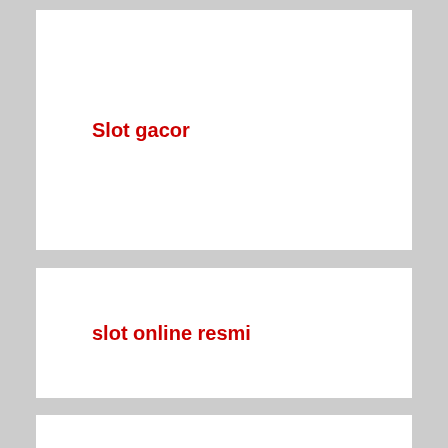Slot gacor
slot online resmi
hoya 77 slot
slot Gacor